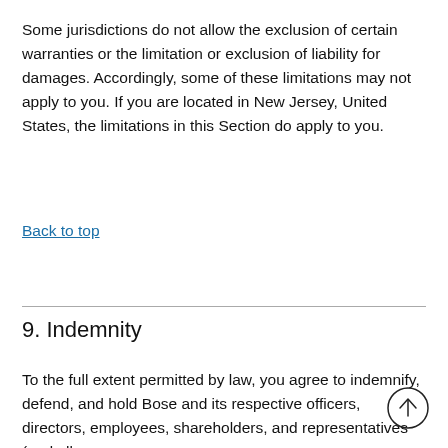Some jurisdictions do not allow the exclusion of certain warranties or the limitation or exclusion of liability for damages. Accordingly, some of these limitations may not apply to you. If you are located in New Jersey, United States, the limitations in this Section do apply to you.
Back to top
9. Indemnity
To the full extent permitted by law, you agree to indemnify, defend, and hold Bose and its respective officers, directors, employees, shareholders, and representatives (and all